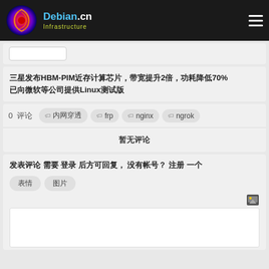Debian.cn Infrastructure
（已裁剪顶部内容）
三星发布HBM-PIM近存计算芯片，带宽提升2倍，功耗降低70%，已向微软等公司提供Linux测试版
0 评论   内网穿透  frp  nginx  ngrok
暂无评论
发表评论 需要 登录 后方可回复， 没有帐号？ 注册 一个
表情  图片